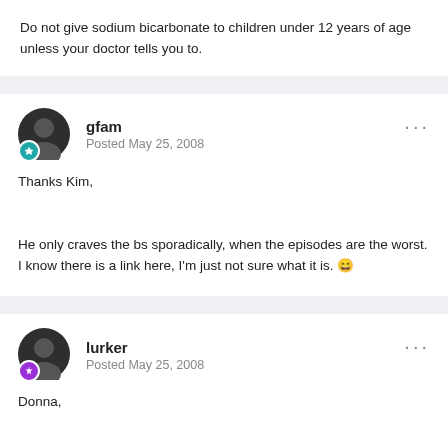Do not give sodium bicarbonate to children under 12 years of age unless your doctor tells you to.
gfam
Posted May 25, 2008

Thanks Kim,

He only craves the bs sporadically, when the episodes are the worst. I know there is a link here, I'm just not sure what it is. 😄
lurker
Posted May 25, 2008

Donna,